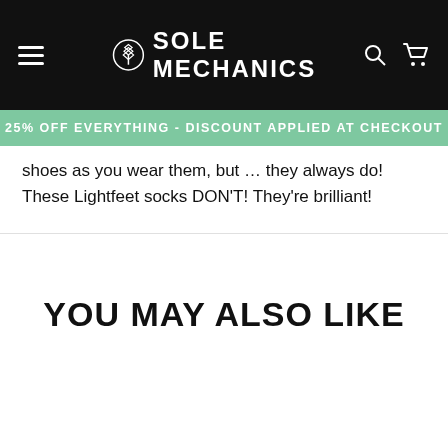SOLE MECHANICS
25% OFF EVERYTHING - DISCOUNT APPLIED AT CHECKOUT
shoes as you wear them, but … they always do! These Lightfeet socks DON'T! They're brilliant!
YOU MAY ALSO LIKE